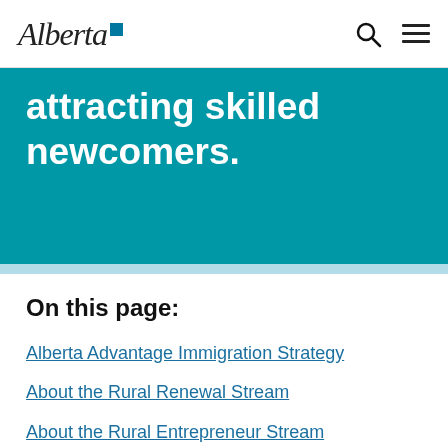Alberta [logo]
attracting skilled newcomers.
On this page:
Alberta Advantage Immigration Strategy
About the Rural Renewal Stream
About the Rural Entrepreneur Stream